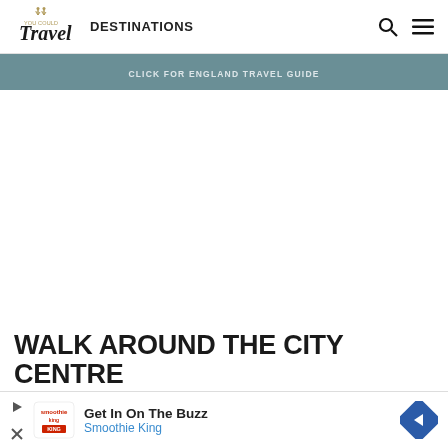You Could Travel — DESTINATIONS
CLICK FOR ENGLAND TRAVEL GUIDE
[Figure (other): Large white/blank image placeholder area for a city centre walk photo]
WALK AROUND THE CITY CENTRE
[Figure (other): Advertisement banner: Get In On The Buzz — Smoothie King with logo and directional sign icon]